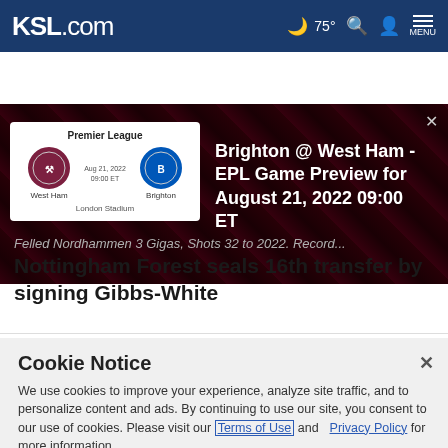KSL.com  ☁ 75°  🔍  👤  MENU
[Figure (screenshot): Sports banner showing a Premier League game card: West Ham vs Brighton, Aug 21, 2022, 09:00 ET, London Stadium. Right side text: Brighton @ West Ham - EPL Game Preview for August 21, 2022 09:00 ET]
Faded partial headline text (obscured by banner)
Nottingham Forest seals 16th transfer by signing Gibbs-White
Cookie Notice
We use cookies to improve your experience, analyze site traffic, and to personalize content and ads. By continuing to use our site, you consent to our use of cookies. Please visit our Terms of Use and Privacy Policy for more information.
Continue